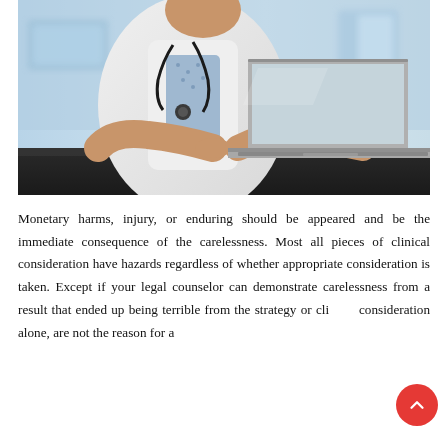[Figure (photo): A doctor in a white coat with a stethoscope around their neck, sitting at a dark desk and typing on a silver laptop. The background is a blurred clinical/office environment with blue tones.]
Monetary harms, injury, or enduring should be appeared and be the immediate consequence of the carelessness. Most all pieces of clinical consideration have hazards regardless of whether appropriate consideration is taken. Except if your legal counselor can demonstrate carelessness from a result that ended up being terrible from the strategy or clinical consideration alone, are not the reason for a